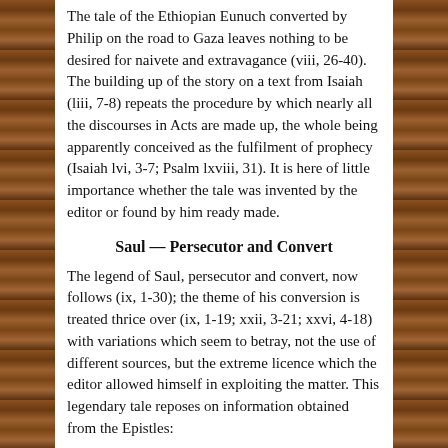The tale of the Ethiopian Eunuch converted by Philip on the road to Gaza leaves nothing to be desired for naivete and extravagance (viii, 26-40). The building up of the story on a text from Isaiah (liii, 7-8) repeats the procedure by which nearly all the discourses in Acts are made up, the whole being apparently conceived as the fulfilment of prophecy (Isaiah lvi, 3-7; Psalm lxviii, 31). It is here of little importance whether the tale was invented by the editor or found by him ready made.
Saul — Persecutor and Convert
The legend of Saul, persecutor and convert, now follows (ix, 1-30); the theme of his conversion is treated thrice over (ix, 1-19; xxii, 3-21; xxvi, 4-18) with variations which seem to betray, not the use of different sources, but the extreme licence which the editor allowed himself in exploiting the matter. This legendary tale reposes on information obtained from the Epistles:
Saul, who is Paul, is converted near Damascus in consequence of a vision, after persecuting the believers in Jesus; this upon an erroneous supposition from the time in question, the whole discourse is...